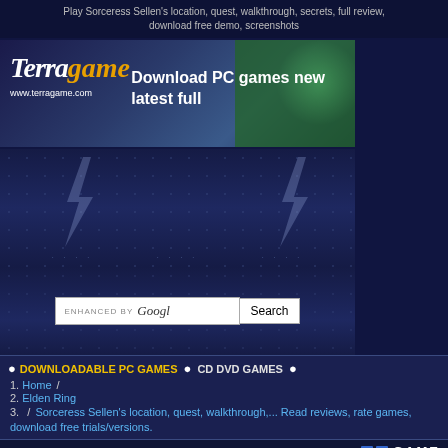Play Sorceress Sellen's location, quest, walkthrough, secrets, full review, download free demo, screenshots
[Figure (screenshot): TerraGame.com banner with logo showing 'TerraGame' text, billiard balls, and text 'Download PC games new latest full', url 'www.terragame.com']
[Figure (screenshot): Dark blue advertisement banner with lightning bolt graphics and dot grid pattern]
[Figure (screenshot): Search bar: 'ENHANCED BY Googl' with Search button]
DOWNLOADABLE PC GAMES
CD DVD GAMES
Home / Elden Ring / Sorceress Sellen's location, quest, walkthrough,... Read reviews, rate games, download free trials/versions.
GAME
SORCERESS SELLEN'S LOCATION, QUEST, WALKTHROUGH, SECRETS
[Figure (photo): Game artwork showing dark fantasy scene with winged creature]